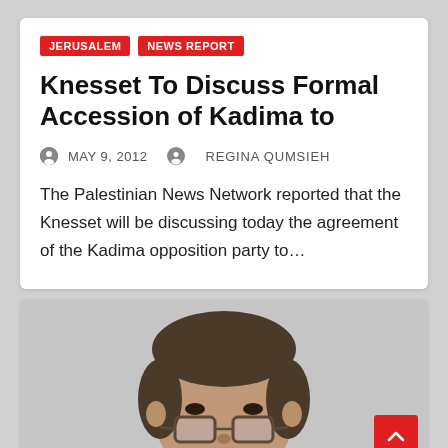JERUSALEM | NEWS REPORT
Knesset To Discuss Formal Accession of Kadima to
MAY 9, 2012 | REGINA QUMSIEH
The Palestinian News Network reported that the Knesset will be discussing today the agreement of the Kadima opposition party to…
[Figure (photo): Portrait photo of a man with glasses and short dark hair against a light background]